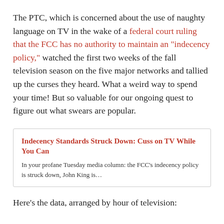The PTC, which is concerned about the use of naughty language on TV in the wake of a federal court ruling that the FCC has no authority to maintain an "indecency policy," watched the first two weeks of the fall television season on the five major networks and tallied up the curses they heard. What a weird way to spend your time! But so valuable for our ongoing quest to figure out what swears are popular.
Indecency Standards Struck Down: Cuss on TV While You Can
In your profane Tuesday media column: the FCC's indecency policy is struck down, John King is…
Here's the data, arranged by hour of television: